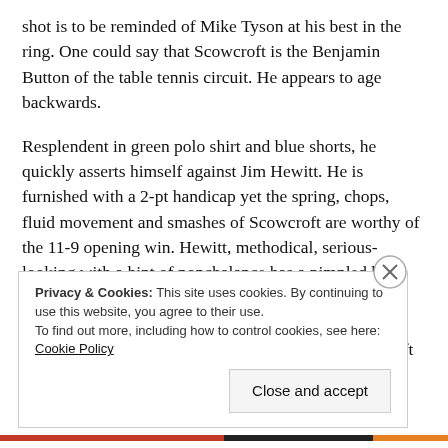shot is to be reminded of Mike Tyson at his best in the ring. One could say that Scowcroft is the Benjamin Button of the table tennis circuit. He appears to age backwards.
Resplendent in green polo shirt and blue shorts, he quickly asserts himself against Jim Hewitt. He is furnished with a 2-pt handicap yet the spring, chops, fluid movement and smashes of Scowcroft are worthy of the 11-9 opening win. Hewitt, methodical, serious-looking with a hint of nonchalance has a pimpled bat capable of reversing opponents' shots or inducing extra swerve on the ball coupled with a Blancmange-like wobble. He preys on the over-anxiousness of Scowcroft in the 2nd (8-11).
Privacy & Cookies: This site uses cookies. By continuing to use this website, you agree to their use. To find out more, including how to control cookies, see here: Cookie Policy
Close and accept